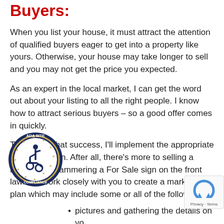Buyers:
When you list your house, it must attract the attention of qualified buyers eager to get into a property like yours. Otherwise, your house may take longer to sell and you may not get the price you expected.
As an expert in the local market, I can get the word out about your listing to all the right people. I know how to attract serious buyers – so a good offer comes in quickly.
To achieve that success, I'll implement the appropriate marketing plan. After all, there's more to selling a house than hammering a For Sale sign on the front lawn. I'll work closely with you to create a marketing plan which may include some or all of the following:
…pictures and gathering the details on yo…rty;
Writing a compelling property profile and creating